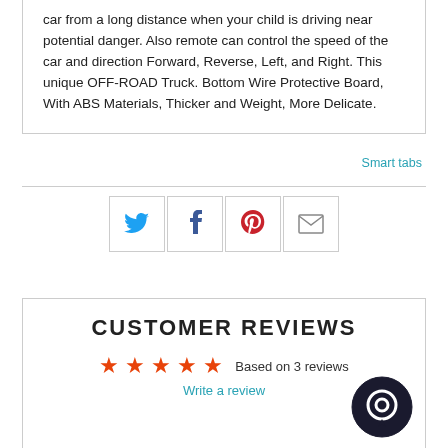car from a long distance when your child is driving near potential danger. Also remote can control the speed of the car and direction Forward, Reverse, Left, and Right. This unique OFF-ROAD Truck. Bottom Wire Protective Board, With ABS Materials, Thicker and Weight, More Delicate.
Smart tabs
[Figure (infographic): Social sharing icons: Twitter (bird, blue), Facebook (f, dark blue), Pinterest (P, red), Email (envelope, grey) each in a square border]
CUSTOMER REVIEWS
★★★★★ Based on 3 reviews
Write a review
[Figure (illustration): Dark circular chat/messenger button icon in bottom right]